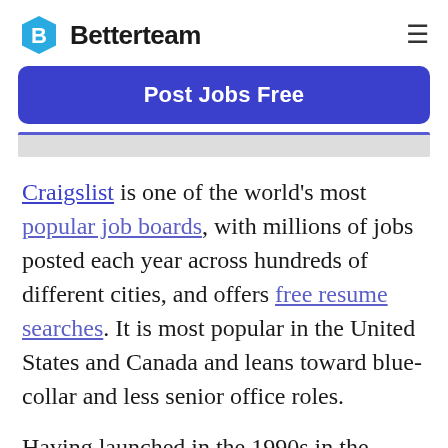Betterteam
Post Jobs Free
Craigslist is one of the world's most popular job boards, with millions of jobs posted each year across hundreds of different cities, and offers free resume searches. It is most popular in the United States and Canada and leans toward blue-collar and less senior office roles.
Having launched in the 1990s in the